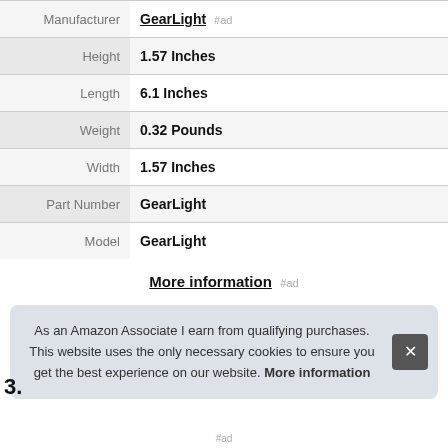| Label | Value |
| --- | --- |
| Manufacturer | GearLight |
| Height | 1.57 Inches |
| Length | 6.1 Inches |
| Weight | 0.32 Pounds |
| Width | 1.57 Inches |
| Part Number | GearLight |
| Model | GearLight |
More information #ad
As an Amazon Associate I earn from qualifying purchases. This website uses the only necessary cookies to ensure you get the best experience on our website. More information